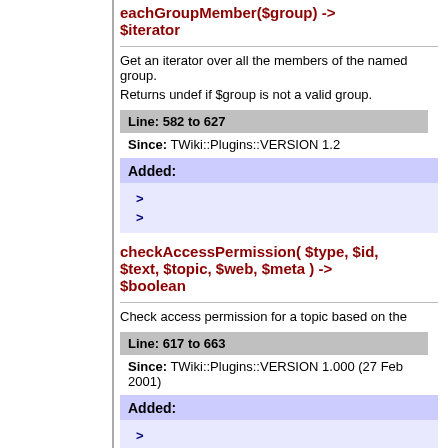eachGroupMember($group) -> $iterator
Get an iterator over all the members of the named group.
Returns undef if $group is not a valid group.
Line: 582 to 627
Since: TWiki::Plugins::VERSION 1.2
Added:
checkAccessPermission( $type, $id, $text, $topic, $web, $meta ) -> $boolean
Check access permission for a topic based on the
Line: 617 to 663
Since: TWiki::Plugins::VERSION 1.000 (27 Feb 2001)
Added: